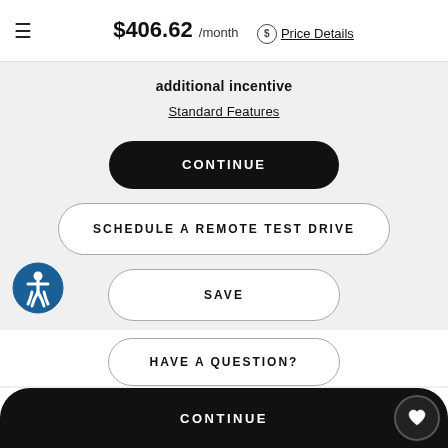≡  $406.62 /month  ⊙ Price Details
additional incentive
Standard Features
CONTINUE
SCHEDULE A REMOTE TEST DRIVE
SAVE
HAVE A QUESTION?
CONTINUE